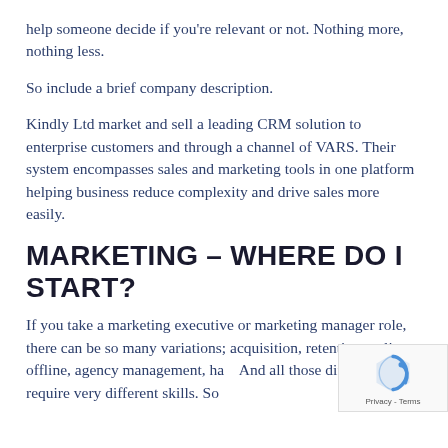help someone decide if you're relevant or not. Nothing more, nothing less.
So include a brief company description.
Kindly Ltd market and sell a leading CRM solution to enterprise customers and through a channel of VARS. Their system encompasses sales and marketing tools in one platform helping business reduce complexity and drive sales more easily.
MARKETING – WHERE DO I START?
If you take a marketing executive or marketing manager role, there can be so many variations; acquisition, retention, online, offline, agency management, ha... And all those differences require very different skills. So